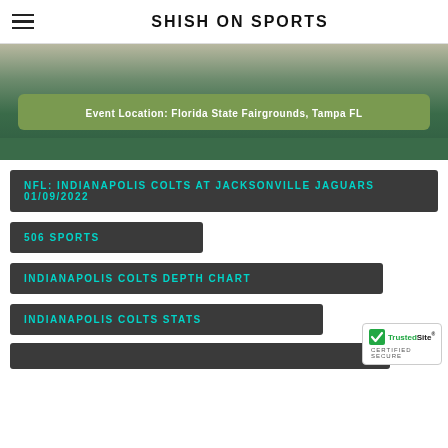SHISH ON SPORTS
[Figure (photo): Banner image with event location bar reading 'Event Location: Florida State Fairgrounds, Tampa FL' on a green background]
NFL: INDIANAPOLIS COLTS AT JACKSONVILLE JAGUARS 01/09/2022
506 SPORTS
INDIANAPOLIS COLTS DEPTH CHART
INDIANAPOLIS COLTS STATS
[Figure (logo): TrustedSite Certified Secure badge]